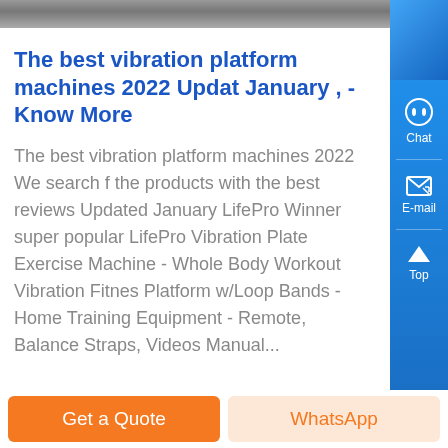[Figure (photo): Top cropped image strip, grayscale/dark photo]
The best vibration platform machines 2022 Updated January , - Know More
The best vibration platform machines 2022 We search f the products with the best reviews Updated January LifePro Winner super popular LifePro Vibration Plate Exercise Machine - Whole Body Workout Vibration Fitness Platform w/Loop Bands - Home Training Equipment - Remote, Balance Straps, Videos Manual...
[Figure (photo): Bottom cropped dark image strip]
Get a Quote
WhatsApp